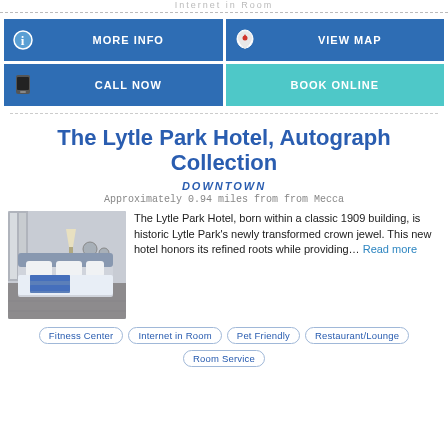Internet in Room
MORE INFO
VIEW MAP
CALL NOW
BOOK ONLINE
The Lytle Park Hotel, Autograph Collection
DOWNTOWN
Approximately 0.94 miles from from Mecca
[Figure (photo): Hotel room interior showing a neatly made bed with blue and white bedding, grey walls, curtains, and patterned carpet]
The Lytle Park Hotel, born within a classic 1909 building, is historic Lytle Park's newly transformed crown jewel. This new hotel honors its refined roots while providing... Read more
Fitness Center
Internet in Room
Pet Friendly
Restaurant/Lounge
Room Service